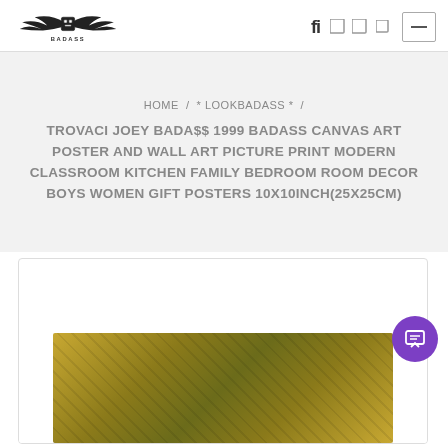Navigation bar with logo and icons
HOME / * LOOKBADASS *  /
TROVACI JOEY BADA$$ 1999 BADASS CANVAS ART POSTER AND WALL ART PICTURE PRINT MODERN CLASSROOM KITCHEN FAMILY BEDROOM ROOM DECOR BOYS WOMEN GIFT POSTERS 10X10INCH(25X25CM)
[Figure (photo): Canvas art poster product image showing a golden/yellow toned artistic poster with abstract or portrait design]